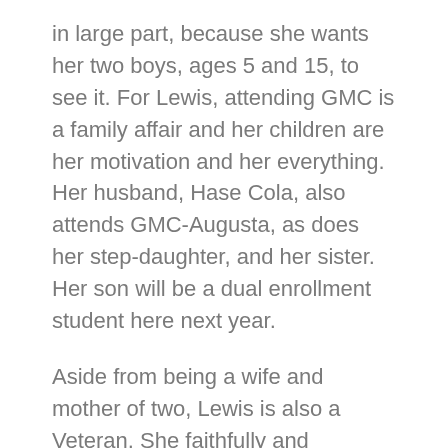in large part, because she wants her two boys, ages 5 and 15, to see it. For Lewis, attending GMC is a family affair and her children are her motivation and her everything. Her husband, Hase Cola, also attends GMC-Augusta, as does her step-daughter, and her sister. Her son will be a dual enrollment student here next year.
Aside from being a wife and mother of two, Lewis is also a Veteran. She faithfully and honorably served in the United States Army for 19 years. She is all about making a lasting impression and leaving a legacy. She’s not one who does what she does for accolades or praise, but because she’s a strong woman of faith, who tries to uplift